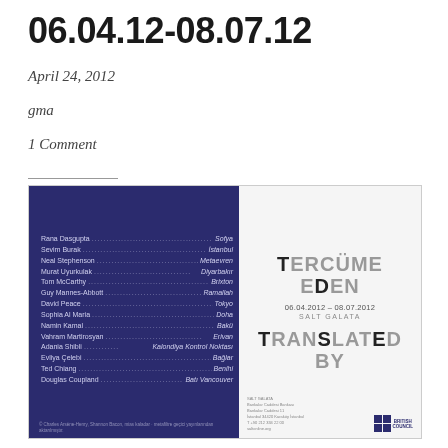06.04.12-08.07.12
April 24, 2012
gma
1 Comment
[Figure (illustration): Exhibition poster for 'Tercüme Eden / Translated By' at SALT Galata, 06.04.2012–08.07.2012. Left half: dark navy blue background with a list of artists and their associated cities: Rana Dasgupta – Sofya, Sevim Burak – İstanbul, Neal Stephenson – Metaevren, Murat Uyurkulak – Diyarbakır, Tom McCarthy – Brixton, Guy Mannes-Abbott – Ramallah, David Peace – Tokyo, Sophia Al Maria – Doha, Namin Kamal – Bakü, Vahram Martirosyan – Erivan, Adania Shibli – Kalondiya Kontrol Noktası, Evliya Çelebi – Bağlar, Ted Chiang – Benihi, Douglas Coupland – Batı Vancouver. Right half: white/light background with the text 'TERCÜME EDEN' in large type, below it '06.04.2012–08.07.2012 / SALT GALATA', then 'TRANSLATED BY'. British Council logo at bottom right.]